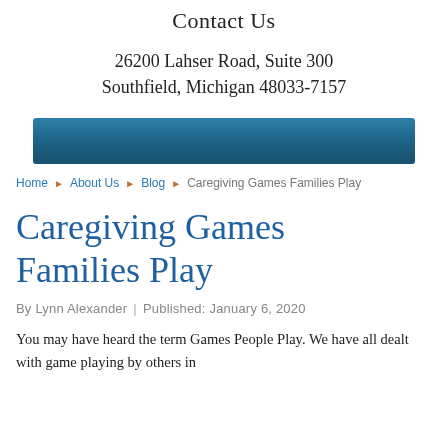Contact Us
26200 Lahser Road, Suite 300
Southfield, Michigan 48033-7157
[Figure (other): Teal/blue horizontal navigation bar]
Home › About Us › Blog › Caregiving Games Families Play
Caregiving Games Families Play
By Lynn Alexander | Published: January 6, 2020
You may have heard the term Games People Play. We have all dealt with game playing by others in